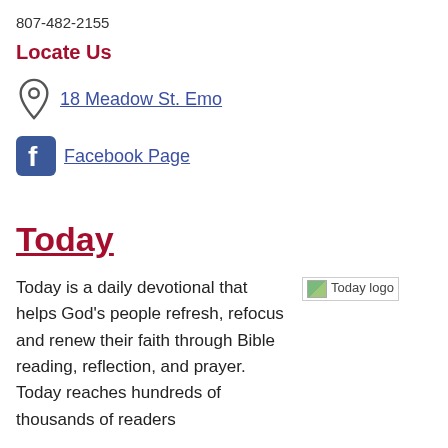807-482-2155
Locate Us
18 Meadow St. Emo
Facebook Page
Today
Today is a daily devotional that helps God's people refresh, refocus and renew their faith through Bible reading, reflection, and prayer. Today reaches hundreds of thousands of readers
[Figure (logo): Today logo image placeholder]